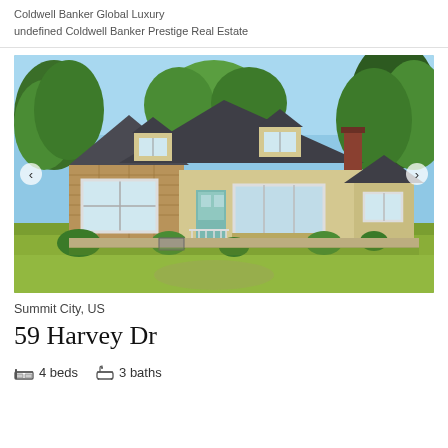Coldwell Banker Global Luxury
undefined Coldwell Banker Prestige Real Estate
[Figure (photo): Exterior photo of a Cape Cod style house with yellow/tan siding, dark shingle roof, dormers, green lawn, and surrounding trees under a blue sky.]
Summit City, US
59 Harvey Dr
4 beds    3 baths